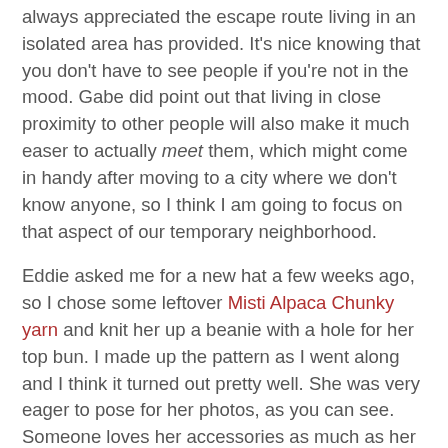always appreciated the escape route living in an isolated area has provided. It's nice knowing that you don't have to see people if you're not in the mood. Gabe did point out that living in close proximity to other people will also make it much easer to actually meet them, which might come in handy after moving to a city where we don't know anyone, so I think I am going to focus on that aspect of our temporary neighborhood.
Eddie asked me for a new hat a few weeks ago, so I chose some leftover Misti Alpaca Chunky yarn and knit her up a beanie with a hole for her top bun. I made up the pattern as I went along and I think it turned out pretty well. She was very eager to pose for her photos, as you can see. Someone loves her accessories as much as her mama. Sam decided to make an appearance at the end of the photo shoot and it always gets me that he hates posing for photos when I ask him to but once I start photographing someone or something else, he's suddenly unable to stay away from the